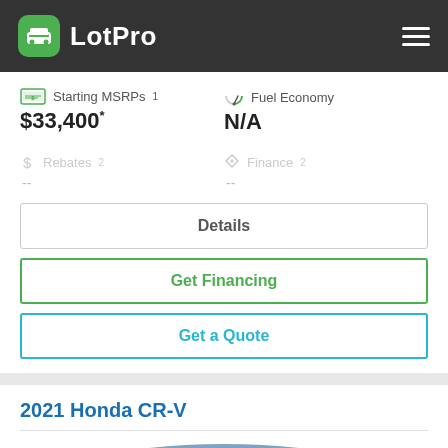LotPro
Starting MSRPs¹
$33,400*
Fuel Economy
N/A
Rebates²
--
Finance²
--
Details
Get Financing
Get a Quote
2021 Honda CR-V